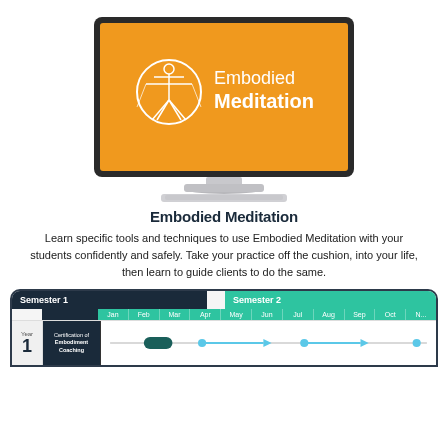[Figure (illustration): iMac desktop computer showing orange screen with Embodied Meditation logo and text]
Embodied Meditation
Learn specific tools and techniques to use Embodied Meditation with your students confidently and safely. Take your practice off the cushion, into your life, then learn to guide clients to do the same.
[Figure (infographic): Course schedule grid showing Semester 1 and Semester 2 across months Jan-Nov, Year 1 row with Certification of Embodiment Coaching timeline bar]